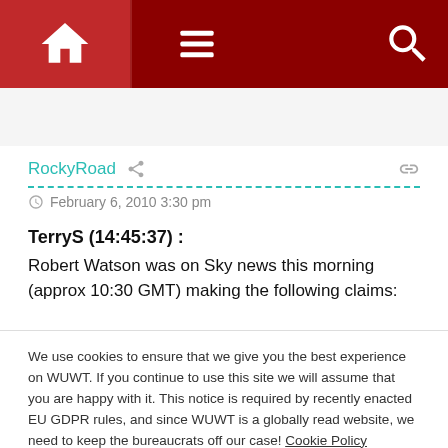Navigation bar with home, menu, and search icons
RockyRoad
February 6, 2010 3:30 pm
TerryS (14:45:37) :
Robert Watson was on Sky news this morning (approx 10:30 GMT) making the following claims:
...
3. The emails do not show any data manipulation.
We use cookies to ensure that we give you the best experience on WUWT. If you continue to use this site we will assume that you are happy with it. This notice is required by recently enacted EU GDPR rules, and since WUWT is a globally read website, we need to keep the bureaucrats off our case! Cookie Policy
Close and accept
up you disagree with, subverting the peer review process, tax